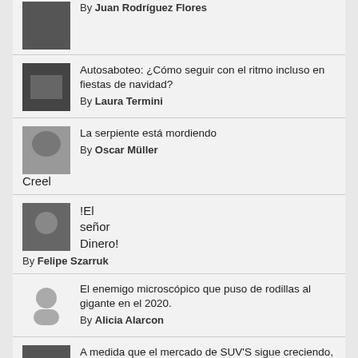By Juan Rodríguez Flores
Autosaboteo: ¿Cómo seguir con el ritmo incluso en fiestas de navidad? By Laura Termini
La serpiente está mordiendo By Oscar Müller Creel
!El señor Dinero! By Felipe Szarruk
El enemigo microscópico que puso de rodillas al gigante en el 2020. By Alicia Alarcon
A medida que el mercado de SUV'S sigue creciendo, el Kia Telluride obtiene más características